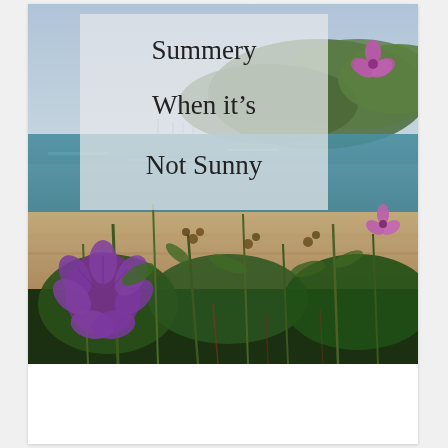[Figure (photo): Coastal scene with purple wildflowers in the foreground, a sandy beach and teal bay in the middle ground, and green hills in the background under a cloudy sky. A semi-transparent white/grey overlay box contains text reading 'Summery When it's Not Sunny'.]
Summery When it's Not Sunny
Share this: